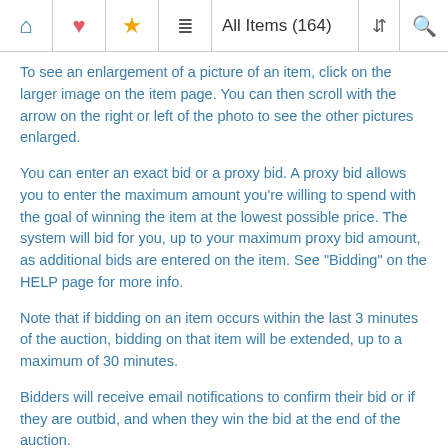All Items (164)
To see an enlargement of a picture of an item, click on the larger image on the item page. You can then scroll with the arrow on the right or left of the photo to see the other pictures enlarged.
You can enter an exact bid or a proxy bid. A proxy bid allows you to enter the maximum amount you're willing to spend with the goal of winning the item at the lowest possible price. The system will bid for you, up to your maximum proxy bid amount, as additional bids are entered on the item. See "Bidding" on the HELP page for more info.
Note that if bidding on an item occurs within the last 3 minutes of the auction, bidding on that item will be extended, up to a maximum of 30 minutes.
Bidders will receive email notifications to confirm their bid or if they are outbid, and when they win the bid at the end of the auction.
Winning bidders will be contacted at the end of the auction...